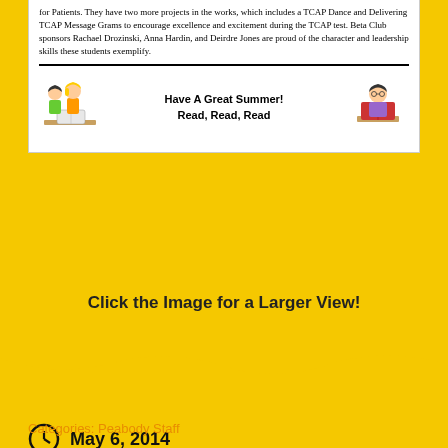for Patients. They have two more projects in the works, which includes a TCAP Dance and Delivering TCAP Message Grams to encourage excellence and excitement during the TCAP test. Beta Club sponsors Rachael Drozinski, Anna Hardin, and Deirdre Jones are proud of the character and leadership skills these students exemplify.
[Figure (illustration): Newsletter section with two cartoon children reading/studying and bold text: Have A Great Summer! Read, Read, Read]
Click the Image for a Larger View!
May 6, 2014
Staff
Leave a comment
Categories: Peabody Staff